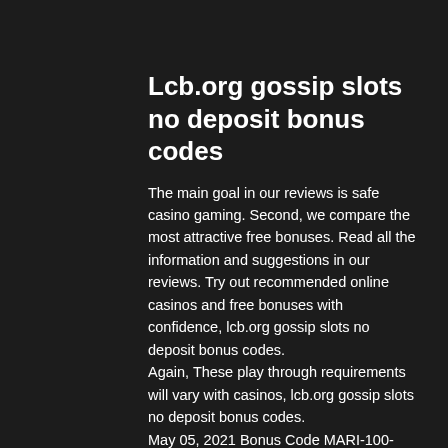Lcb.org gossip slots no deposit bonus codes
The main goal in our reviews is safe casino gaming. Second, we compare the most attractive free bonuses. Read all the information and suggestions in our reviews. Try out recommended online casinos and free bonuses with confidence, lcb.org gossip slots no deposit bonus codes.
Again, These play through requirements will vary with casinos, lcb.org gossip slots no deposit bonus codes.
May 05, 2021 Bonus Code MARI-100-ACHI, MARI-150-ACHI. No Deposit Bonus - Slots No Deposit Bonus! Superlines is a fa, lcb.org gossip slots no deposit bonus codes.
Bonza slots free spins